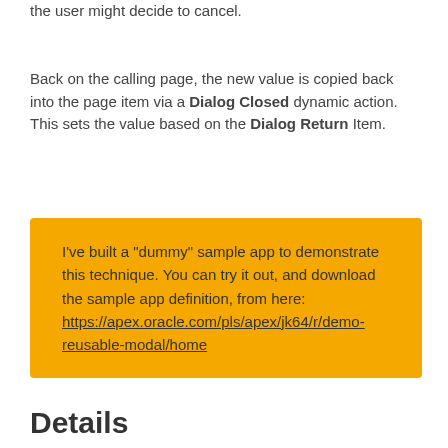the user might decide to cancel.
Back on the calling page, the new value is copied back into the page item via a Dialog Closed dynamic action. This sets the value based on the Dialog Return Item.
I’ve built a “dummy” sample app to demonstrate this technique. You can try it out, and download the sample app definition, from here: https://apex.oracle.com/pls/apex/jk64/r/demo-reusable-modal/home
Details